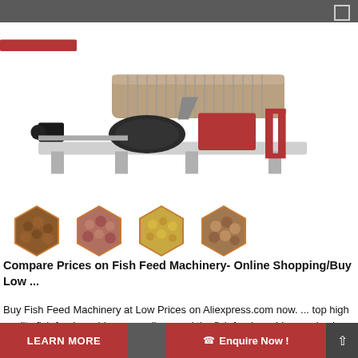[Figure (photo): Industrial fish feed extruder/pellet machine with red and grey components, motor, and cylindrical drum on a metal frame]
[Figure (photo): Four hexagonal thumbnails showing different types of fish feed pellets in various sizes and colors]
Compare Prices on Fish Feed Machinery- Online Shopping/Buy Low ...
Buy Fish Feed Machinery at Low Prices on Aliexpress.com now. ... top high quality fish feed machinery suppliers, and the fish feed machinery price is ... Semi-Automatic fish feeder/90min continuous fish feeding machine/pond fish food feeder . 25000r/min China factory wholesale commercial fish feed mill machine for sale.
LEARN MORE
Enquire Now !